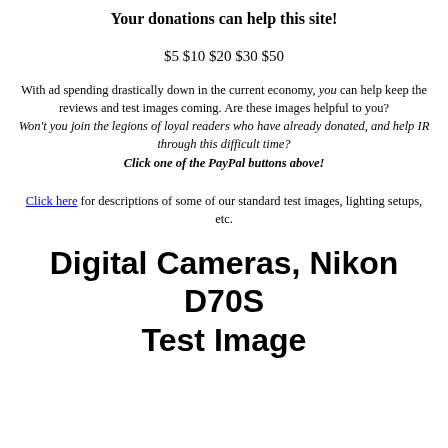Your donations can help this site!
$5 $10 $20 $30 $50
With ad spending drastically down in the current economy, you can help keep the reviews and test images coming. Are these images helpful to you? Won't you join the legions of loyal readers who have already donated, and help IR through this difficult time? Click one of the PayPal buttons above!
Click here for descriptions of some of our standard test images, lighting setups, etc.
Digital Cameras, Nikon D70S Test Image